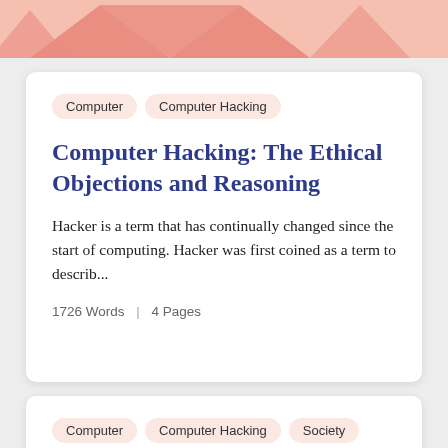[Figure (illustration): Top banner with salmon/coral colored decorative geometric shapes (zigzag/mountain-like forms) on a light pink background]
Computer  Computer Hacking
Computer Hacking: The Ethical Objections and Reasoning
Hacker is a term that has continually changed since the start of computing. Hacker was first coined as a term to describ...
1726 Words  |  4 Pages
Computer  Computer Hacking  Society
Analysis Of Computer Misuse Act 1990 And Its Impact On Society